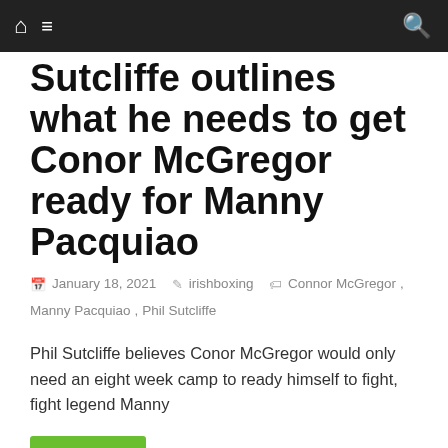Navigation bar with home icon, menu icon, search icon
Sutcliffe outlines what he needs to get Conor McGregor ready for Manny Pacquiao
January 18, 2021  irishboxing  Connor McGregor, Manny Pacquiao, Phil Sutcliffe
Phil Sutcliffe believes Conor McGregor would only need an eight week camp to ready himself to fight, fight legend Manny
Read more